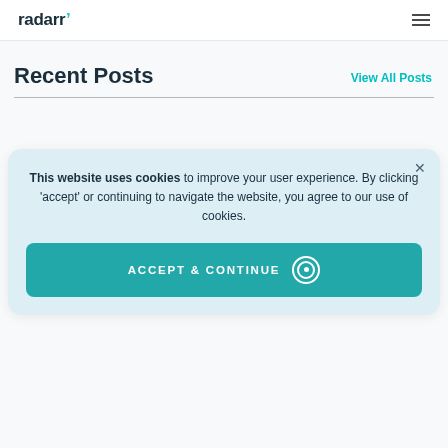radarr [logo] [hamburger menu]
Recent Posts
View All Posts
This website uses cookies to improve your user experience. By clicking 'accept' or continuing to navigate the website, you agree to our use of cookies.
ACCEPT & CONTINUE